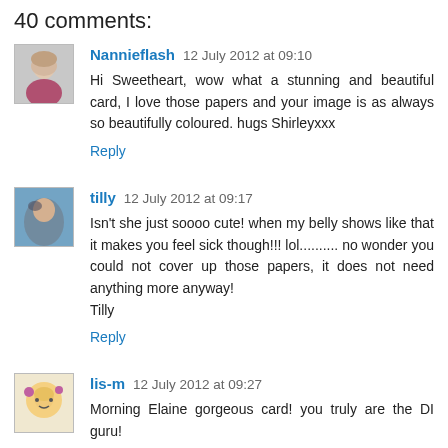40 comments:
Nannieflash 12 July 2012 at 09:10
Hi Sweetheart, wow what a stunning and beautiful card, I love those papers and your image is as always so beautifully coloured. hugs Shirleyxxx
Reply
tilly 12 July 2012 at 09:17
Isn't she just soooo cute! when my belly shows like that it makes you feel sick though!!! lol.......... no wonder you could not cover up those papers, it does not need anything more anyway!
Tilly
Reply
lis-m 12 July 2012 at 09:27
Morning Elaine   gorgeous card! you truly are the DI guru!